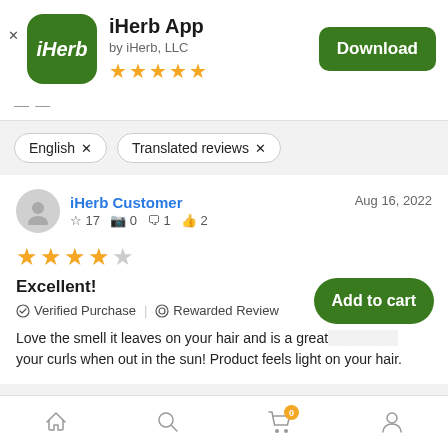[Figure (logo): iHerb app icon - green rounded square with white iHerb text]
iHerb App
by iHerb, LLC
[Figure (other): Five yellow stars rating]
[Figure (other): Download button - green rounded rectangle]
English × Translated reviews ×
iHerb Customer   Aug 16, 2022
☆ 17  📷 0  💬 1  👍 2
[Figure (other): Four yellow stars and one empty star rating]
Excellent!
✓ Verified Purchase | ⊙ Rewarded Review
Love the smell it leaves on your hair and is a great... your curls when out in the sun! Product feels light on your hair.
[Figure (other): Add to cart green button overlay]
Home  Search  Cart (0)  Account